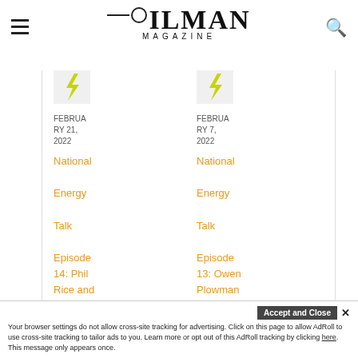OILMAN MAGAZINE
[Figure (logo): Oilman Magazine logo with horizontal lines and circle decoration]
[Figure (illustration): Yellow lightning bolt / energy icon thumbnail for article 1]
FEBRUARY 21, 2022
National Energy Talk Episode 14: Phil Rice and Ashley Nichols (Align
[Figure (illustration): Yellow lightning bolt / energy icon thumbnail for article 2]
FEBRUARY 7, 2022
National Energy Talk Episode 13: Owen Plowman
Your browser settings do not allow cross-site tracking for advertising. Click on this page to allow AdRoll to use cross-site tracking to tailor ads to you. Learn more or opt out of this AdRoll tracking by clicking here. This message only appears once.